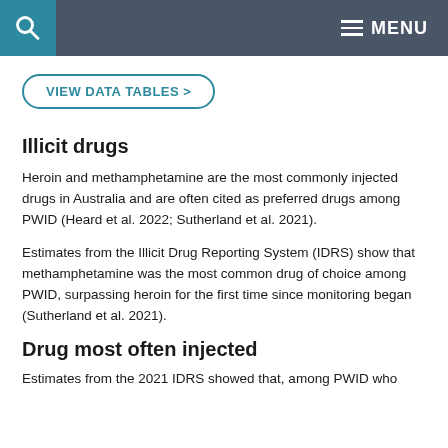MENU
VIEW DATA TABLES >
Illicit drugs
Heroin and methamphetamine are the most commonly injected drugs in Australia and are often cited as preferred drugs among PWID (Heard et al. 2022; Sutherland et al. 2021).
Estimates from the Illicit Drug Reporting System (IDRS) show that methamphetamine was the most common drug of choice among PWID, surpassing heroin for the first time since monitoring began (Sutherland et al. 2021).
Drug most often injected
Estimates from the 2021 IDRS showed that, among PWID who